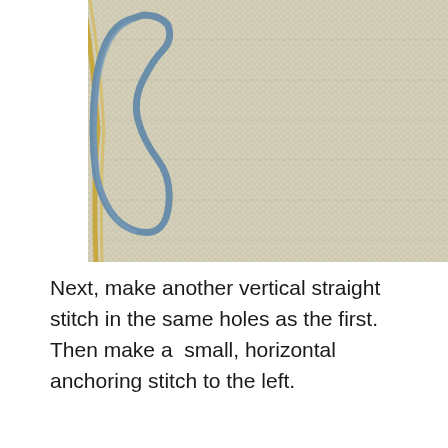[Figure (photo): Close-up photo of aida cross-stitch fabric showing a blue thread loop stitch on the left side, with a gold/yellow thread visible on the far left edge. The fabric has a visible grid weave texture.]
Next, make another vertical straight stitch in the same holes as the first.  Then make a  small, horizontal anchoring stitch to the left.
[Figure (photo): Close-up photo of aida cross-stitch fabric showing a needle being inserted into the fabric on the left side, with a blue thread bundle on the right side and gold thread on the bottom left. A horizontal row of stitches is visible across the center of the fabric.]